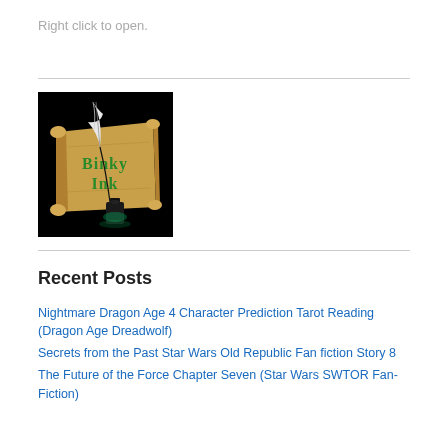Right click to open.
[Figure (logo): Binky Ink logo: a parchment scroll with a white quill feather and a glowing green ink bottle on a black background, with 'Binky Ink' written in green gothic lettering]
Recent Posts
Nightmare Dragon Age 4 Character Prediction Tarot Reading (Dragon Age Dreadwolf)
Secrets from the Past Star Wars Old Republic Fan fiction Story 8
The Future of the Force Chapter Seven (Star Wars SWTOR Fan-Fiction)